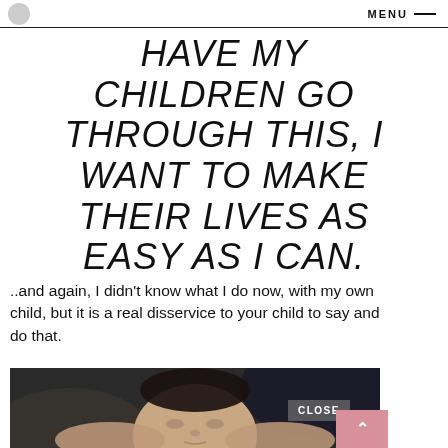MENU
HAVE MY CHILDREN GO THROUGH THIS, I WANT TO MAKE THEIR LIVES AS EASY AS I CAN.
..and again, I didn't know what I do now, with my own child, but it is a real disservice to your child to say and do that.
[Figure (photo): Close-up photograph of a sleeping baby's face being held by adult hands, dark background]